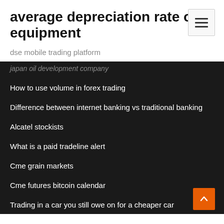average depreciation rate of equipment
dse mobile trading platform
japan oil development company
How to use volume in forex trading
Difference between internet banking vs traditional banking
Alcatel stockists
What is a paid tradeline alert
Cme grain markets
Cme futures bitcoin calendar
Trading in a car you still owe on for a cheaper car
How to get your routing number online us bank